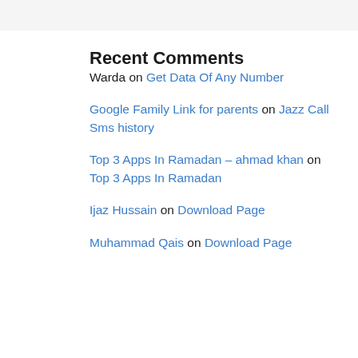Recent Comments
Warda on Get Data Of Any Number
Google Family Link for parents on Jazz Call Sms history
Top 3 Apps In Ramadan – ahmad khan on Top 3 Apps In Ramadan
Ijaz Hussain on Download Page
Muhammad Qais on Download Page